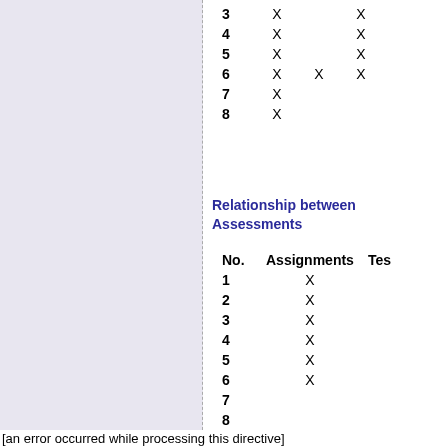[Figure (other): Left panel with light purple/lavender background, dashed right border — appears to be an image or figure placeholder region.]
| No. | Assignments | Tes | (col4) |
| --- | --- | --- | --- |
| 3 | X |  | X |
| 4 | X |  | X |
| 5 | X |  | X |
| 6 | X | X | X |
| 7 | X |  |  |
| 8 | X |  |  |
Relationship between Assessments
| No. | Assignments | Tes... |
| --- | --- | --- |
| 1 | X |  |
| 2 | X |  |
| 3 | X |  |
| 4 | X |  |
| 5 | X |  |
| 6 | X |  |
| 7 |  |  |
| 8 |  |  |
[an error occurred while processing this directive]